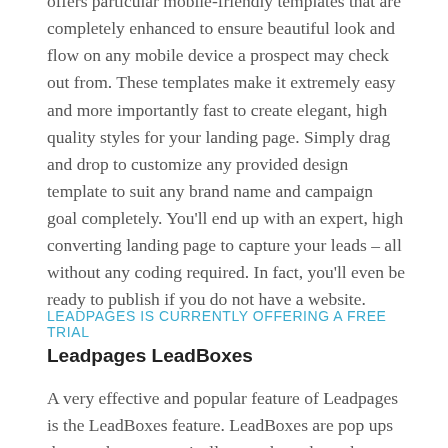offers particular mobile-friendly templates that are completely enhanced to ensure beautiful look and flow on any mobile device a prospect may check out from. These templates make it extremely easy and more importantly fast to create elegant, high quality styles for your landing page. Simply drag and drop to customize any provided design template to suit any brand name and campaign goal completely. You'll end up with an expert, high converting landing page to capture your leads – all without any coding required. In fact, you'll even be ready to publish if you do not have a website.
LEADPAGES IS CURRENTLY OFFERING A FREE TRIAL
Leadpages LeadBoxes
A very effective and popular feature of Leadpages is the LeadBoxes feature. LeadBoxes are pop ups that can be put practically anywhere throughout your digital